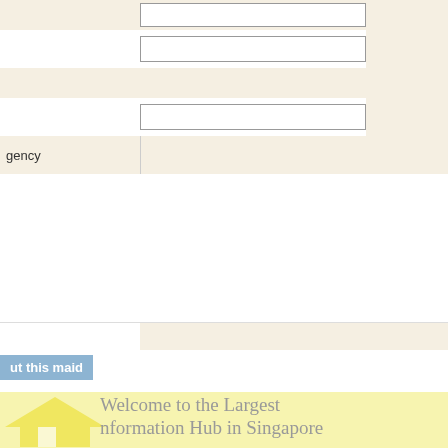[Figure (screenshot): Web form with alternating beige/white rows, input fields, and a blue enquiry button. Bottom section shows a yellow banner with text about Singapore maid information hub.]
gency
ut this maid
Welcome to the Largest Information Hub in Singapore
More than 10,000 maids fo